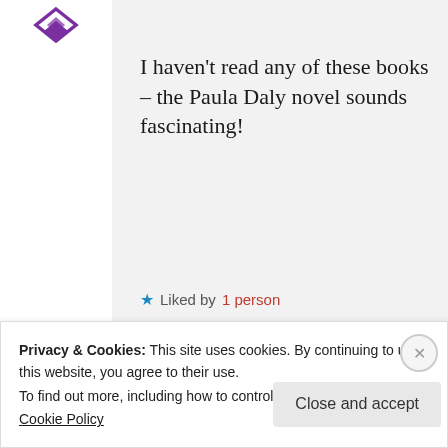[Figure (logo): Purple Yahoo-style logo/icon in top left corner]
I haven't read any of these books – the Paula Daly novel sounds fascinating!
★ Liked by 1 person
OCTOBER 24, 2018 AT 11:06 AM
↪ REPLY
Privacy & Cookies: This site uses cookies. By continuing to use this website, you agree to their use.
To find out more, including how to control cookies, see here:
Cookie Policy
Close and accept